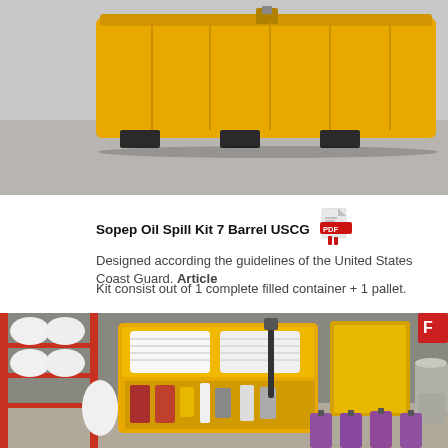[Figure (photo): Yellow large plastic container/box on concrete floor, viewed from front, with lid and black feet]
Sopep Oil Spill Kit 7 Barrel USCG
Designed according the guidelines of the United States Coast Guard. Article
Kit consist out of 1 complete filled container + 1 pallet.
[Figure (photo): Open yellow spill kit container in warehouse showing white absorbent booms and pads, various containers including purple/red jugs, tools, and spill response equipment on shelves in background]